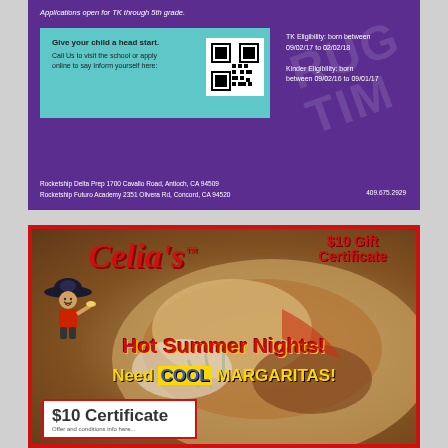Applications open for TK through 5th grade.
Give your child a head start. Call Us to visit the school or apply online to say Inform yourself here:
TK Eligibility: born between 09/02/17 to 02/02/18
Kinder Eligibility: born between 09/02/16 to 09/01/17
Rocketship Delta Prep 1700 Cavallo Road, Antioch, CA 94509
Rocketship Futuro Academy 2351 Olivera Rd, Concord, CA 94520
409.675.2929
[Figure (infographic): Celia's restaurant advertisement with $10 Gift Certificate offer. Hot Summer Nights - Need COOL MARGARITAS! with Mexican food background and mascot.]
$10 Gift Certificate
Hot Summer Nights!
Need COOL MARGARITAS!
$10 Certificate